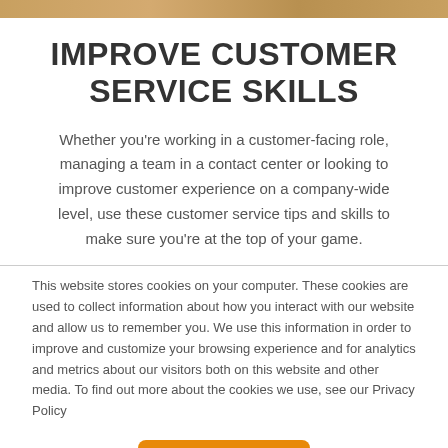[Figure (photo): Partial image bar at top of page showing a warm-toned photograph]
IMPROVE CUSTOMER SERVICE SKILLS
Whether you’re working in a customer-facing role, managing a team in a contact center or looking to improve customer experience on a company-wide level, use these customer service tips and skills to make sure you’re at the top of your game.
This website stores cookies on your computer. These cookies are used to collect information about how you interact with our website and allow us to remember you. We use this information in order to improve and customize your browsing experience and for analytics and metrics about our visitors both on this website and other media. To find out more about the cookies we use, see our Privacy Policy
Accept